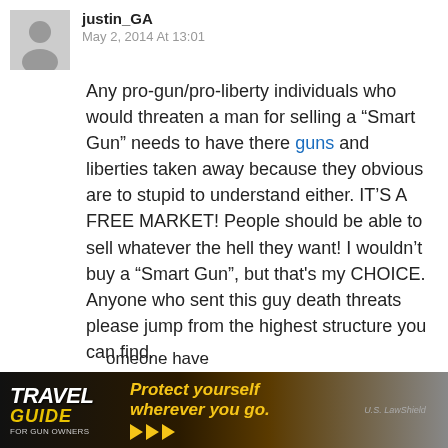justin_GA
May 2, 2014 At 13:01
Any pro-gun/pro-liberty individuals who would threaten a man for selling a “Smart Gun” needs to have there guns and liberties taken away because they obvious are to stupid to understand either. IT’S A FREE MARKET! People should be able to sell whatever the hell they want! I wouldn’t buy a “Smart Gun”, but that's my CHOICE. Anyone who sent this guy death threats please jump from the highest structure you can find.
Reply
smackdab
May 2, 2014 At 23:14
It’s a free market, and we enjoy the right to ...someone have
[Figure (photo): Advertisement banner: Travel Guide for Gun Owners. Text reads 'Protect yourself wherever you go.' with orange play-button arrows and U.S. LawShield branding.]